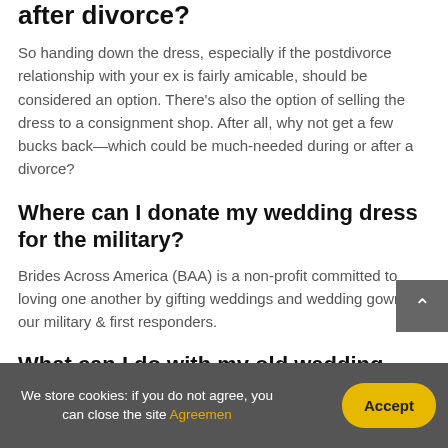after divorce?
So handing down the dress, especially if the postdivorce relationship with your ex is fairly amicable, should be considered an option. There's also the option of selling the dress to a consignment shop. After all, why not get a few bucks back—which could be much-needed during or after a divorce?
Where can I donate my wedding dress for the military?
Brides Across America (BAA) is a non-profit committed to loving one another by gifting weddings and wedding gowns to our military & first responders.
What can I do with my old wedding dress UK?
We store cookies: if you do not agree, you can close the site Agreemen
Accept